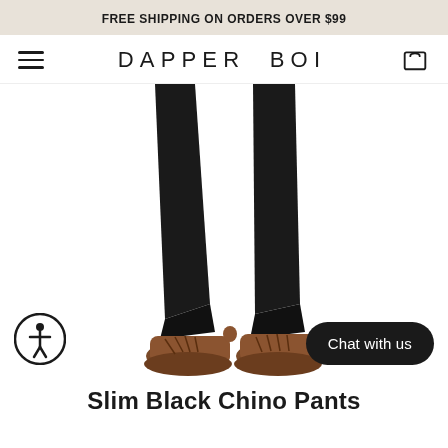FREE SHIPPING ON ORDERS OVER $99
DAPPER BOI
[Figure (photo): Lower body of a person wearing slim black chino pants cuffed at the ankle, paired with brown leather lace-up shoes, white background.]
Chat with us
Slim Black Chino Pants